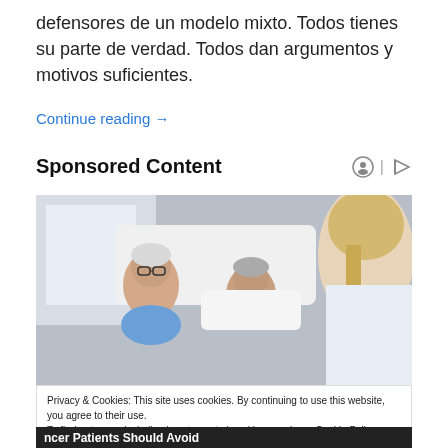defensores de un modelo mixto. Todos tienes su parte de verdad. Todos dan argumentos y motivos suficientes.
Continue reading →
Sponsored Content
[Figure (photo): An elderly man with glasses and an elderly woman lying in a hospital bed looking at a female healthcare professional (doctor or nurse) with blonde hair.]
Privacy & Cookies: This site uses cookies. By continuing to use this website, you agree to their use.
To find out more, including how to control cookies, see here: Cookie Policy
Close and accept
ncer Patients Should Avoid